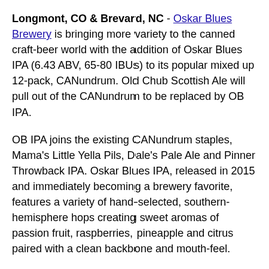Longmont, CO & Brevard, NC - Oskar Blues Brewery is bringing more variety to the canned craft-beer world with the addition of Oskar Blues IPA (6.43 ABV, 65-80 IBUs) to its popular mixed up 12-pack, CANundrum. Old Chub Scottish Ale will pull out of the CANundrum to be replaced by OB IPA.
OB IPA joins the existing CANundrum staples, Mama's Little Yella Pils, Dale's Pale Ale and Pinner Throwback IPA. Oskar Blues IPA, released in 2015 and immediately becoming a brewery favorite, features a variety of hand-selected, southern-hemisphere hops creating sweet aromas of passion fruit, raspberries, pineapple and citrus paired with a clean backbone and mouth-feel.
"Old Chub has been a steady staple, but with the popularity of OB IPA, we couldn't deny the introduction into CANundrum," said Tim Matthews, Oskar Blues' Head of Brewing Operations. "The flavor profile is a unique complement to the other brews in the lineup."
CANundrum launched in 2013 and has since become one of the brewery's top selling brands fueled by nearly 75%